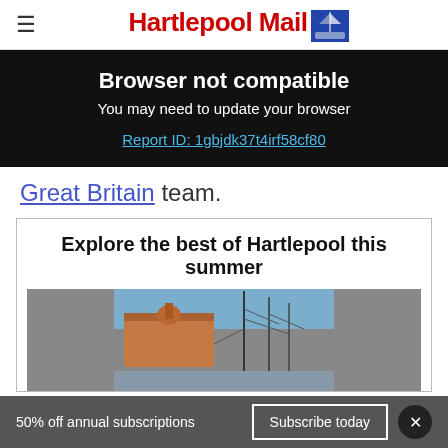Hartlepool Mail
Browser not compatible
You may need to update your browser
Report ID: 1gbjdk37t4irf58cf80
Great Britain team.
Explore the best of Hartlepool this summer
[Figure (photo): Hartlepool harbour with a tall ship and historic building visible]
50% off annual subscriptions  Subscribe today